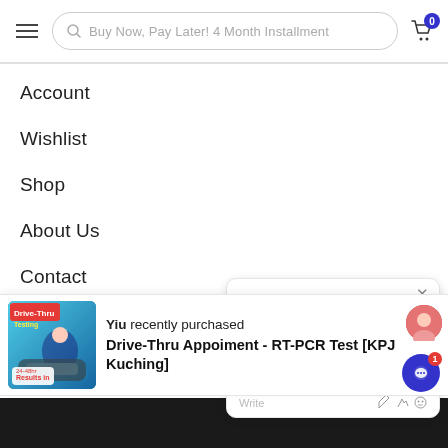Buy Now, Pay Later! 4 Month Installment
Account
Wishlist
Shop
About Us
Contact
Partnership
[Figure (screenshot): Chat widget popup: 'Hi I'm online and ready to help you. Is there anything I can help you with?' with agent Healtopedia, just now]
[Figure (screenshot): Purchase notification: Yiu recently purchased Drive-Thru Appoiment - RT-PCR Test [KPJ Kuching] with product image]